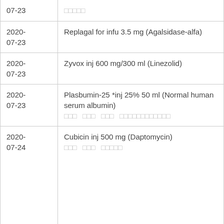| Date | Medication |
| --- | --- |
| 07-23 | □□□□□ |
| 2020-07-23 | Replagal for infu 3.5 mg (Agalsidase-alfa) |
| 2020-07-23 | Zyvox inj 600 mg/300 ml (Linezolid) |
| 2020-07-23 | Plasbumin-25 *inj 25% 50 ml (Normal human serum albumin) □□□ □□□ □□□ □□□□□□□□□□□□ |
| 2020-07-24 | Cubicin inj 500 mg (Daptomycin) □□□ □□□ □□□□□ |
| 2020-07-24 | Vimpat FC tab 100 mg (Lacosamide) |